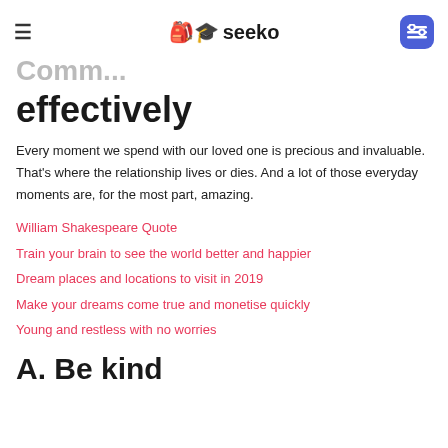seeko
effectively
Every moment we spend with our loved one is precious and invaluable. That's where the relationship lives or dies. And a lot of those everyday moments are, for the most part, amazing.
William Shakespeare Quote
Train your brain to see the world better and happier
Dream places and locations to visit in 2019
Make your dreams come true and monetise quickly
Young and restless with no worries
A. Be kind